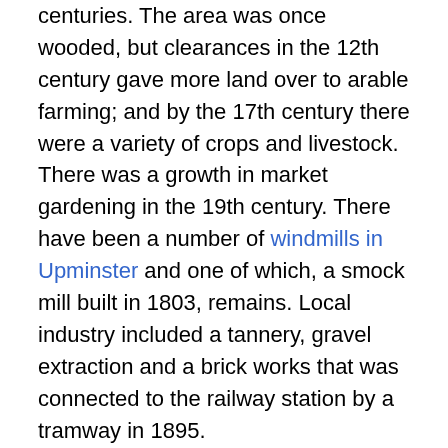centuries. The area was once wooded, but clearances in the 12th century gave more land over to arable farming; and by the 17th century there were a variety of crops and livestock. There was a growth in market gardening in the 19th century. There have been a number of windmills in Upminster and one of which, a smock mill built in 1803, remains. Local industry included a tannery, gravel extraction and a brick works that was connected to the railway station by a tramway in 1895.
The London, Tilbury and Southend Railway from Fenchurch Street was extended from Barking to Upminster in 1885. The underground Whitechapel and Bow Railway opened in 1902 and allowed through services of the District Railway to operate to Upminster. The District converted to electric trains in 1905 and